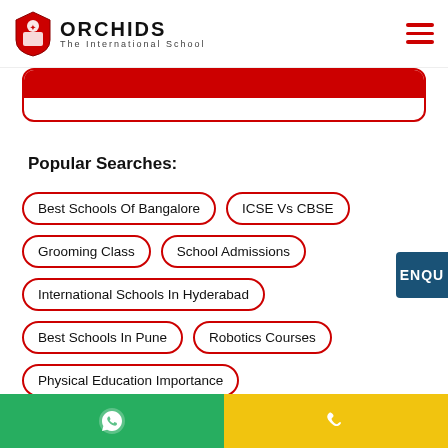[Figure (logo): Orchids The International School logo with shield emblem and text]
[Figure (screenshot): Search box with red border and red filled top portion]
Popular Searches:
Best Schools Of Bangalore
ICSE Vs CBSE
Grooming Class
School Admissions
International Schools In Hyderabad
Best Schools In Pune
Robotics Courses
Physical Education Importance